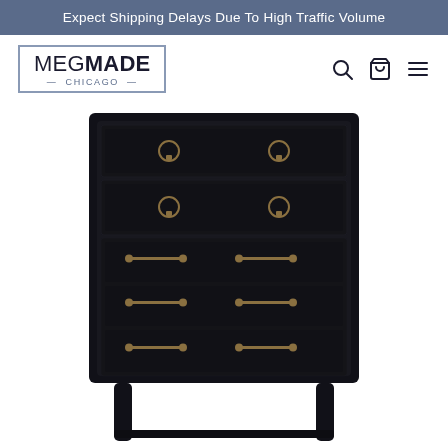Expect Shipping Delays Due To High Traffic Volume
[Figure (logo): MEGMADE Chicago logo in a rectangular border with navigation icons (search, cart, menu) to the right]
[Figure (photo): Black painted tall dresser/chest of drawers with five drawers featuring brass ring pulls on top two drawers and brass bar pulls on lower three drawers, showing the furniture legs at the bottom, on white background]